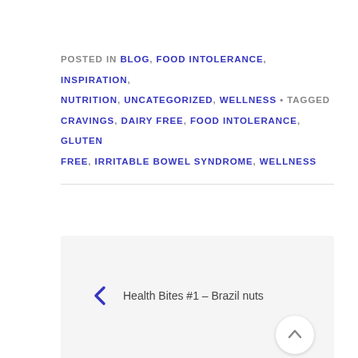POSTED IN BLOG, FOOD INTOLERANCE, INSPIRATION, NUTRITION, UNCATEGORIZED, WELLNESS • TAGGED CRAVINGS, DAIRY FREE, FOOD INTOLERANCE, GLUTEN FREE, IRRITABLE BOWEL SYNDROME, WELLNESS
← Health Bites #1 – Brazil nuts